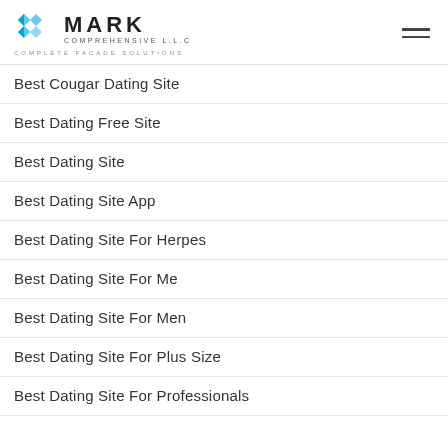Mark Comprehensive LLC – Complete Facade Solutions
Best Cougar Dating Site
Best Dating Free Site
Best Dating Site
Best Dating Site App
Best Dating Site For Herpes
Best Dating Site For Me
Best Dating Site For Men
Best Dating Site For Plus Size
Best Dating Site For Professionals